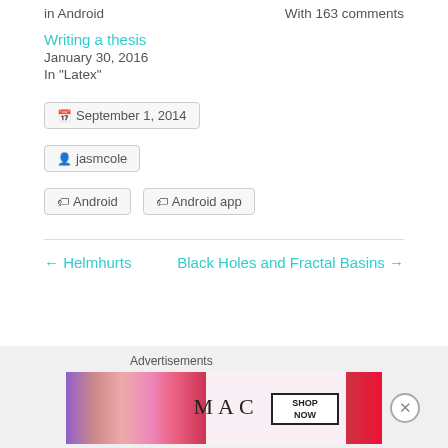in Android
With 163 comments
Writing a thesis
January 30, 2016
In "Latex"
September 1, 2014
jasmcole
Android
Android app
← Helmhurts
Black Holes and Fractal Basins →
Advertisements